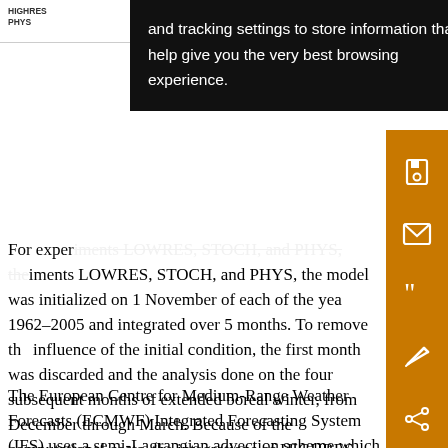HIGHRES PHYS
[Figure (screenshot): Cookie/browser popup overlay with dark background and white text: 'and tracking settings to store information that help give you the very best browsing experience.']
For experiments LOWRES, STOCH, and PHYS, the model was initialized on 1 November of each of the years 1962–2005 and integrated over 5 months. To remove the influence of the initial condition, the first month was discarded and the analysis done on the four subsequent months of extended boreal winter, from December through March. Because of the computational costs, the integrations of HIGHRES had to be restricted to 16 winters from 1990 to 2005.
The European Centre for Medium-Range Weather Forecasts (ECMWF) Integrated Forecasting System (IFS) uses a semi-Lagrangian advection scheme which is a